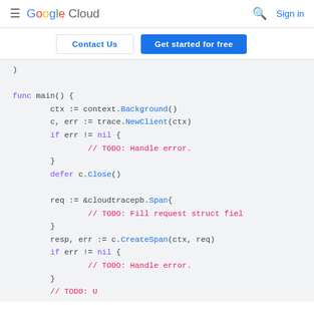≡ Google Cloud  🔍  Sign in
Contact Us | Get started for free
[Figure (screenshot): Code snippet showing Go code with func main(), context.Background(), trace.NewClient(ctx), error handling, defer c.Close(), cloudtracepb.Span struct, and c.CreateSpan(ctx, req) call with error handling.]